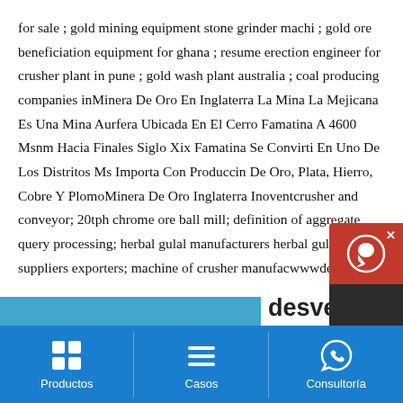for sale ; gold mining equipment stone grinder machi ; gold ore beneficiation equipment for ghana ; resume erection engineer for crusher plant in pune ; gold wash plant australia ; coal producing companies inMinera De Oro En Inglaterra La Mina La Mejicana Es Una Mina Aurfera Ubicada En El Cerro Famatina A 4600 Msnm Hacia Finales Siglo Xix Famatina Se Convirti En Uno De Los Distritos Ms Importa Con Produccin De Oro, Plata, Hierro, Cobre Y PlomoMinera De Oro Inglaterra Inoventcrusher and conveyor; 20tph chrome ore ball mill; definition of aggregate query processing; herbal gulal manufacturers herbal gulal suppliers exporters; machine of crusher manufacwwwdewatecch
[Figure (screenshot): Chat widget with red header showing headset icon and close button, dark background with 'Chat Now' text]
desventajas de
Productos   Casos   Consultoría